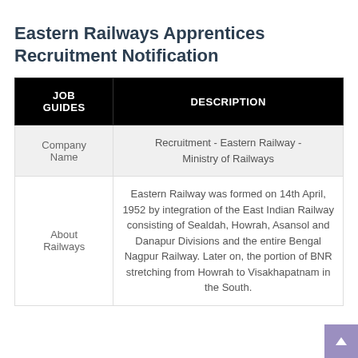Eastern Railways Apprentices Recruitment Notification
| JOB GUIDES | DESCRIPTION |
| --- | --- |
| Company Name | Recruitment - Eastern Railway - Ministry of Railways |
| About Railways | Eastern Railway was formed on 14th April, 1952 by integration of the East Indian Railway consisting of Sealdah, Howrah, Asansol and Danapur Divisions and the entire Bengal Nagpur Railway. Later on, the portion of BNR stretching from Howrah to Visakhapatnam in the South. |